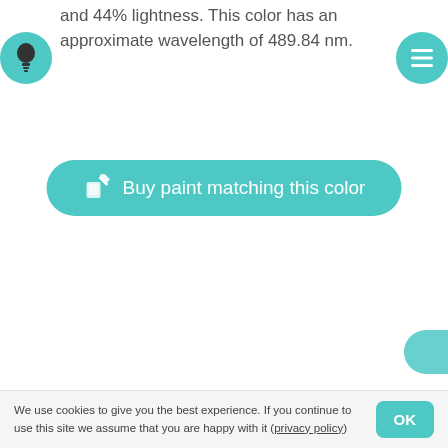and 44% lightness. This color has an approximate wavelength of 489.84 nm.
[Figure (other): Teal circular icon with lightbulb symbol on the left side]
[Figure (other): Teal circular icon with hamburger menu lines on the right side]
[Figure (other): Teal rounded rectangle button with paintbrush icon and text 'Buy paint matching this color']
[Figure (other): Partially visible teal circular scroll button at bottom right]
We use cookies to give you the best experience. If you continue to use this site we assume that you are happy with it (privacy policy)